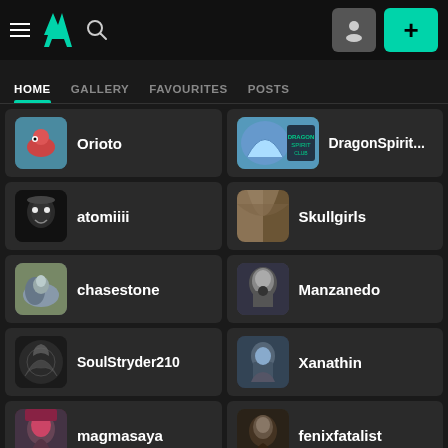DeviantArt navigation bar with hamburger menu, DA logo, search icon, profile button, and + add button
HOME | GALLERY | FAVOURITES | POSTS
Orioto
DragonSpirit...
atomiiii
Skullgirls
chasestone
Manzanedo
SoulStryder210
Xanathin
magmasaya
fenixfatalist